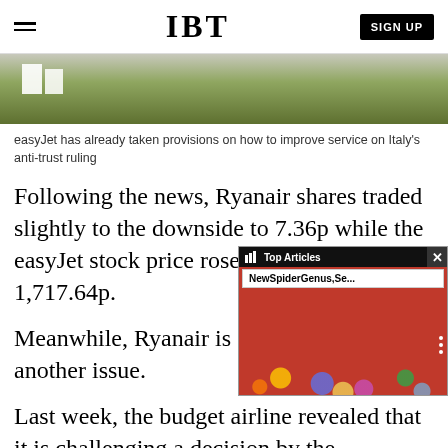IBT | SIGN UP
[Figure (photo): Aerial or ground-level view of a green field with white structures on the left side, likely an airport or airfield]
easyJet has already taken provisions on how to improve service on Italy's anti-trust ruling
Following the news, Ryanair shares traded slightly to the downside to 7.36p while the easyJet stock price rose by less than 1% to 1,717.64p.
Meanwhile, Ryanair is still regulator on another issue.
[Figure (screenshot): Video overlay showing Top Articles panel with NewSpiderGenus,Se... title and a colorful Bowie-style image with decorative circles on red background]
Last week, the budget airline revealed that it is challenging a decision by the watchdog that ordered